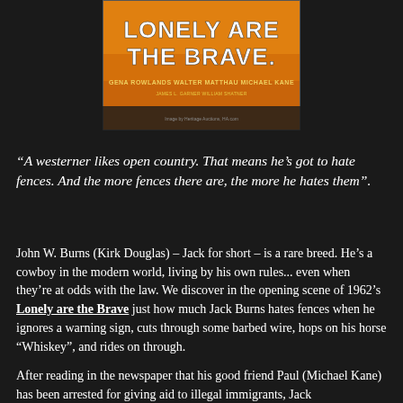[Figure (photo): Movie poster for 'Lonely Are the Brave' featuring orange background with white bold title text, and credits including Gena Rowlands, Walter Matthau, Michael Kane. Small watermark text at bottom reads 'Image by Heritage Auctions, HA.com'.]
“A westerner likes open country. That means he’s got to hate fences. And the more fences there are, the more he hates them”.
John W. Burns (Kirk Douglas) – Jack for short – is a rare breed. He’s a cowboy in the modern world, living by his own rules... even when they’re at odds with the law. We discover in the opening scene of 1962’s Lonely are the Brave just how much Jack Burns hates fences when he ignores a warning sign, cuts through some barbed wire, hops on his horse “Whiskey”, and rides on through.
After reading in the newspaper that his good friend Paul (Michael Kane) has been arrested for giving aid to illegal immigrants, Jack